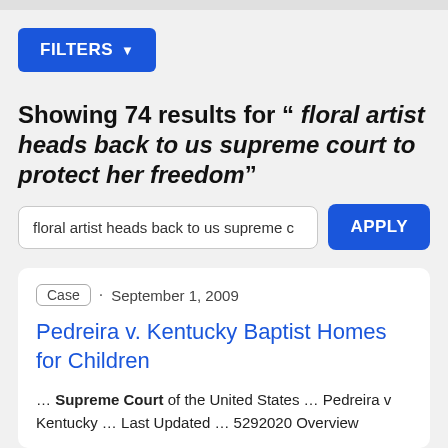[Figure (screenshot): Top grey bar of a mobile browser UI]
FILTERS ▼
Showing 74 results for " floral artist heads back to us supreme court to protect her freedom"
floral artist heads back to us supreme c
APPLY
Case · September 1, 2009
Pedreira v. Kentucky Baptist Homes for Children
… Supreme Court of the United States … Pedreira v Kentucky … Last Updated … 5292020 Overview